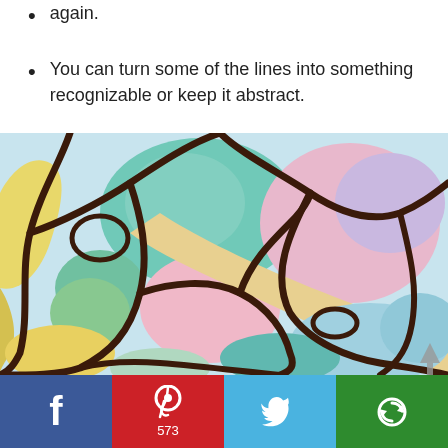again.
You can turn some of the lines into something recognizable or keep it abstract.
[Figure (illustration): Watercolor painting showing organic cell-like shapes outlined in dark brown/black, filled with pastel colors including teal, green, pink, lavender, yellow, and blue.]
Facebook | Pinterest 573 | Twitter | Share